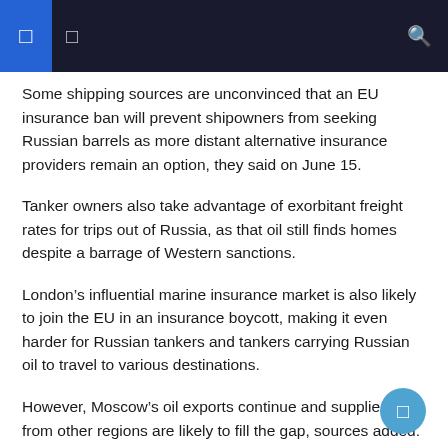Some shipping sources are unconvinced that an EU insurance ban will prevent shipowners from seeking Russian barrels as more distant alternative insurance providers remain an option, they said on June 15.
Tanker owners also take advantage of exorbitant freight rates for trips out of Russia, as that oil still finds homes despite a barrage of Western sanctions.
London's influential marine insurance market is also likely to join the EU in an insurance boycott, making it even harder for Russian tankers and tankers carrying Russian oil to travel to various destinations.
However, Moscow's oil exports continue and suppliers from other regions are likely to fill the gap, sources added.